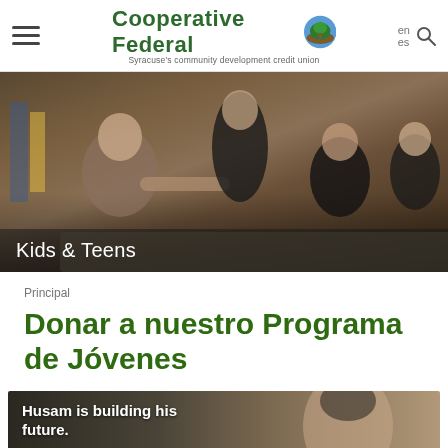[Figure (logo): Cooperative Federal logo with tree icon and tagline 'Syracuse's community development credit union']
[Figure (photo): Photo of teens and adults sitting around a table in a classroom/meeting setting. Text overlay reads 'Kids & Teens'.]
Principal
Donar a nuestro Programa de Jóvenes
[Figure (photo): Photo of a young man with text overlay 'Husam is building his future.' and a 'Show hours' button at the bottom left.]